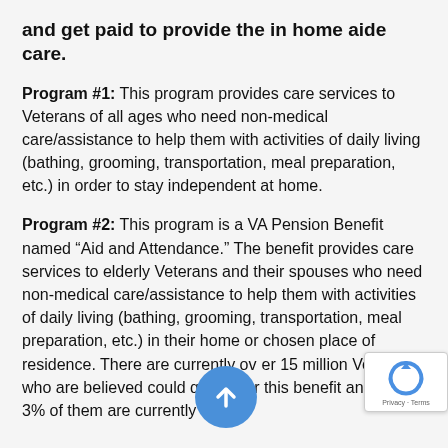and get paid to provide the in home aide care.
Program #1: This program provides care services to Veterans of all ages who need non-medical care/assistance to help them with activities of daily living (bathing, grooming, transportation, meal preparation, etc.) in order to stay independent at home.
Program #2: This program is a VA Pension Benefit named “Aid and Attendance.” The benefit provides care services to elderly Veterans and their spouses who need non-medical care/assistance to help them with activities of daily living (bathing, grooming, transportation, meal preparation, etc.) in their home or chosen place of residence. There are currently over 15 million Veterans who are believed could qualify for this benefit and only 3% of them are currently taking